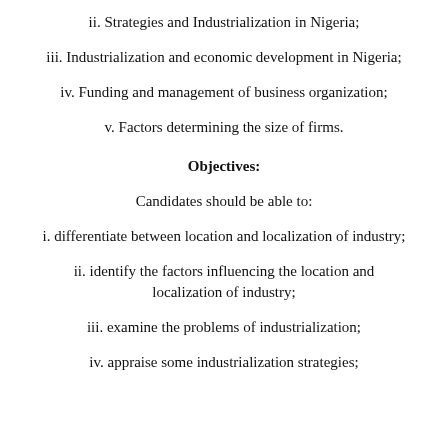ii. Strategies and Industrialization in Nigeria;
iii. Industrialization and economic development in Nigeria;
iv. Funding and management of business organization;
v. Factors determining the size of firms.
Objectives:
Candidates should be able to:
i. differentiate between location and localization of industry;
ii. identify the factors influencing the location and localization of industry;
iii. examine the problems of industrialization;
iv. appraise some industrialization strategies;